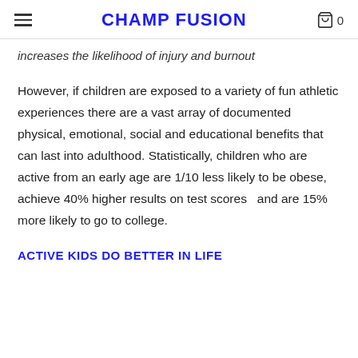CHAMP FUSION
increases the likelihood of injury and burnout
However, if children are exposed to a variety of fun athletic experiences there are a vast array of documented physical, emotional, social and educational benefits that can last into adulthood. Statistically, children who are active from an early age are 1/10 less likely to be obese, achieve 40% higher results on test scores  and are 15% more likely to go to college.
ACTIVE KIDS DO BETTER IN LIFE